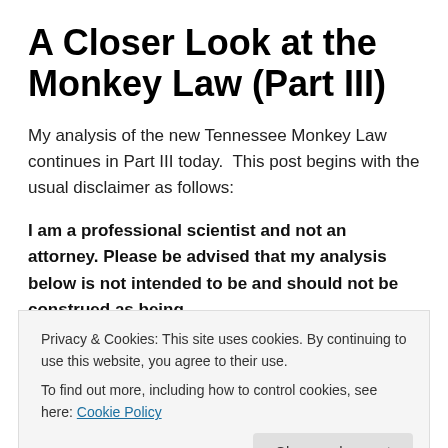A Closer Look at the Monkey Law (Part III)
My analysis of the new Tennessee Monkey Law continues in Part III today.  This post begins with the usual disclaimer as follows:
I am a professional scientist and not an attorney. Please be advised that my analysis below is not intended to be and should not be construed as being legal advice or counsel to anyone.  If you are a public
Privacy & Cookies: This site uses cookies. By continuing to use this website, you agree to their use.
To find out more, including how to control cookies, see here: Cookie Policy
contact an attorney who is licensed to practice law in